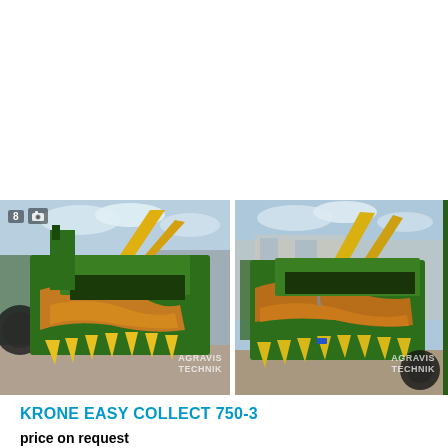[Figure (photo): Two side-by-side photos of a KRONE EASY COLLECT 750-3 corn header agricultural machine displayed outdoors at a dealer lot. The machine is green and yellow, shown folded/stacked. Both photos have AGRAVIS TECHNIK watermark. The first photo has a badge showing '8' and a camera icon.]
KRONE EASY COLLECT 750-3
price on request
Corn header